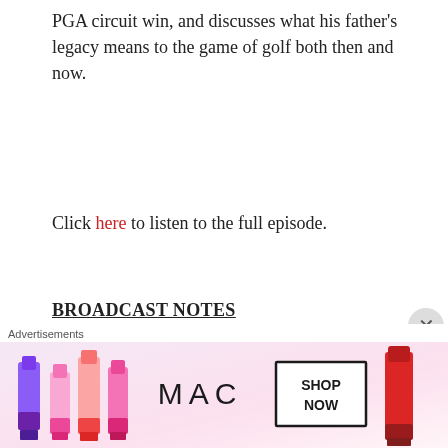PGA circuit win, and discusses what his father's legacy means to the game of golf both then and now.
Click here to listen to the full episode.
BROADCAST NOTES
Golf Central: Golf Central will provide pre- and post-tournament coverage on GOLF Channel and Peacock Thursday-Sunday. Golf Central coverage is anchored by Anna Jackson, Paige Mackenzie,
[Figure (photo): MAC Cosmetics advertisement showing lipsticks in purple, pink, and red shades with MAC logo and 'SHOP NOW' button]